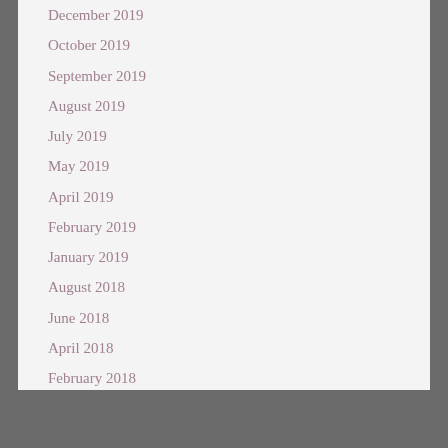December 2019
October 2019
September 2019
August 2019
July 2019
May 2019
April 2019
February 2019
January 2019
August 2018
June 2018
April 2018
February 2018
January 2018
August 2017
July 2017